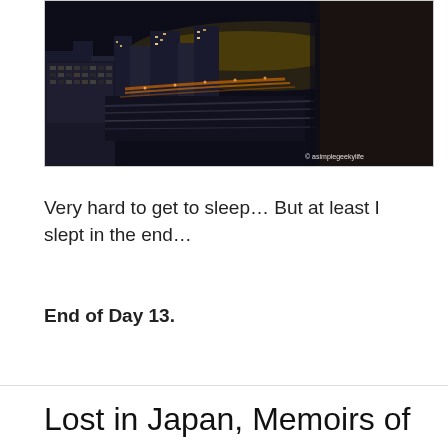[Figure (photo): Night cityscape photograph taken from a hotel room window showing illuminated buildings, highways with light trails, and a dark sky. Watermark reads '© asimplegeekylife' in bottom right.]
Very hard to get to sleep… But at least I slept in the end…
End of Day 13.
Lost in Japan, Memoirs of a